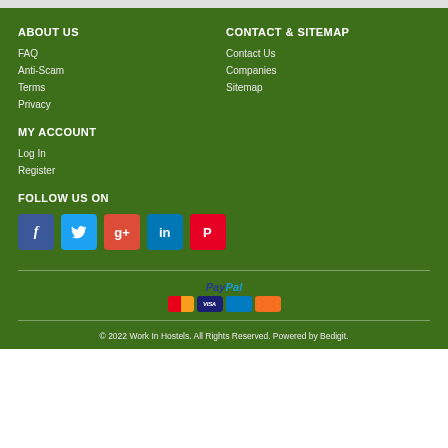ABOUT US
FAQ
Anti-Scam
Terms
Privacy
CONTACT & SITEMAP
Contact Us
Companies
Sitemap
MY ACCOUNT
Log In
Register
FOLLOW US ON
[Figure (infographic): Social media icons: Facebook, Twitter, Google+, LinkedIn, Pinterest]
[Figure (logo): PayPal payment logo with credit card icons: Mastercard, Visa, Amex, Discover]
© 2022 Work In Hostels. All Rights Reserved. Powered by Bedigit.